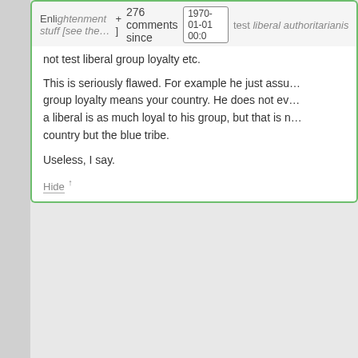Enlightenment stuff [see the… +] 276 comments since 1970-01-01 00:0 test liberal authoritarianism [authority of scientists…] not test liberal group loyalty etc.
This is seriously flawed. For example he just assu… group loyalty means your country. He does not ev… a liberal is as much loyal to his group, but that is n… country but the blue tribe.
Useless, I say.
Hide ↑
Steve Sailer says: November 18, 2014 at 8:08 am ~new~
Conservatives' loyalties tend to be con… while liberals pride themselves on leap… loyalties that hopscotch over some peo… somewhat similar to themselves in favo…